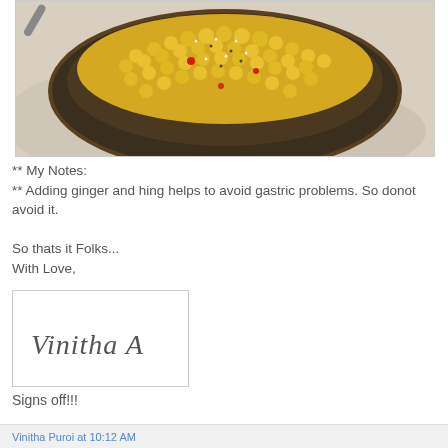[Figure (photo): A dark metal bowl filled with yellow chickpeas/corn garnished with spices, seeds and chopped vegetables on a light cloth background]
** My Notes:
** Adding ginger and hing helps to avoid gastric problems. So donot avoid it.

So thats it Folks...
With Love,
[Figure (illustration): Cursive handwritten signature reading 'Vinitha A']
Signs off!!!
Vinitha Puroi at 10:12 AM